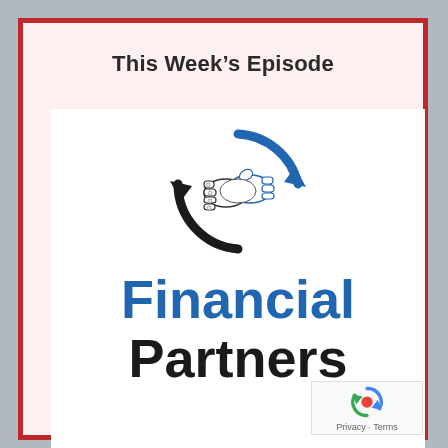This Week's Episode
[Figure (logo): Financial Partners podcast logo with handshake icon inside a circular arrow design, blue and black colors, with text 'Financial Partners' below]